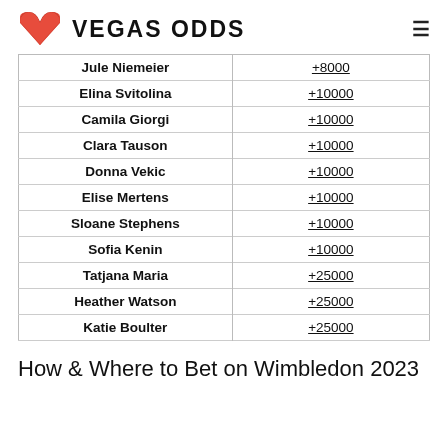VEGAS ODDS
| Jule Niemeier | +8000 |
| Elina Svitolina | +10000 |
| Camila Giorgi | +10000 |
| Clara Tauson | +10000 |
| Donna Vekic | +10000 |
| Elise Mertens | +10000 |
| Sloane Stephens | +10000 |
| Sofia Kenin | +10000 |
| Tatjana Maria | +25000 |
| Heather Watson | +25000 |
| Katie Boulter | +25000 |
How & Where to Bet on Wimbledon 2023